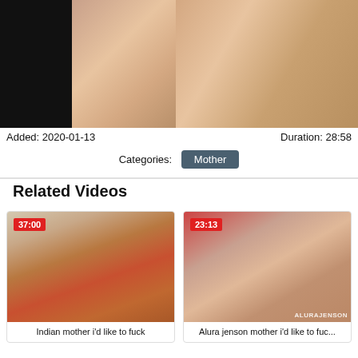[Figure (photo): Main video preview image showing video content]
Added: 2020-01-13
Duration: 28:58
Categories: Mother
Related Videos
[Figure (photo): Thumbnail for Indian mother video, duration 37:00]
Indian mother i'd like to fuck
[Figure (photo): Thumbnail for Alura jenson video, duration 23:13]
Alura jenson mother i'd like to fuc...